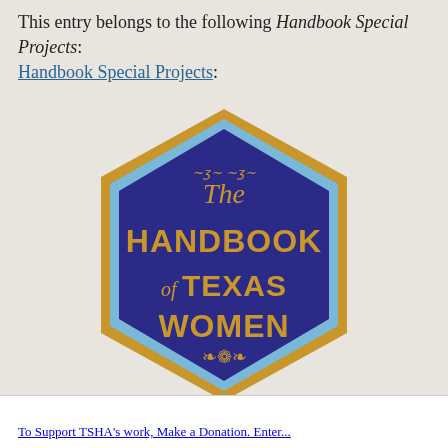This entry belongs to the following Handbook Special Projects:
[Figure (logo): Hexagonal logo for 'The Handbook of Texas Women' with a dark navy/purple background, gold border, light blue inner border, and gold text reading 'The HANDBOOK of TEXAS WOMEN' with decorative flourishes]
To Support TSHA's work, Make a Donation. Enter...